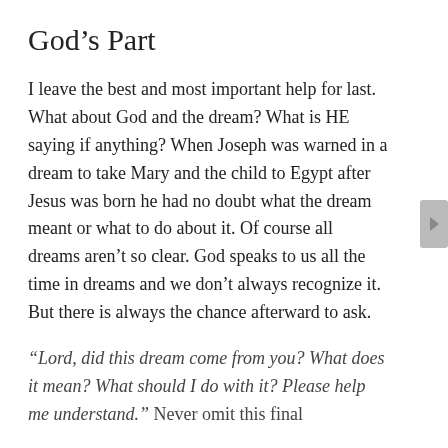God’s Part
I leave the best and most important help for last. What about God and the dream? What is HE saying if anything? When Joseph was warned in a dream to take Mary and the child to Egypt after Jesus was born he had no doubt what the dream meant or what to do about it. Of course all dreams aren’t so clear. God speaks to us all the time in dreams and we don’t always recognize it. But there is always the chance afterward to ask.
“Lord, did this dream come from you? What does it mean? What should I do with it? Please help me understand.” Never omit this final